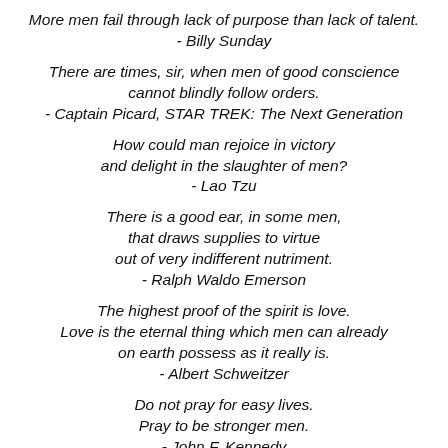More men fail through lack of purpose than lack of talent.
- Billy Sunday
There are times, sir, when men of good conscience cannot blindly follow orders.
- Captain Picard, STAR TREK: The Next Generation
How could man rejoice in victory and delight in the slaughter of men?
- Lao Tzu
There is a good ear, in some men, that draws supplies to virtue out of very indifferent nutriment.
- Ralph Waldo Emerson
The highest proof of the spirit is love. Love is the eternal thing which men can already on earth possess as it really is.
- Albert Schweitzer
Do not pray for easy lives. Pray to be stronger men.
- John F. Kennedy
Instead of comparing our lot with that